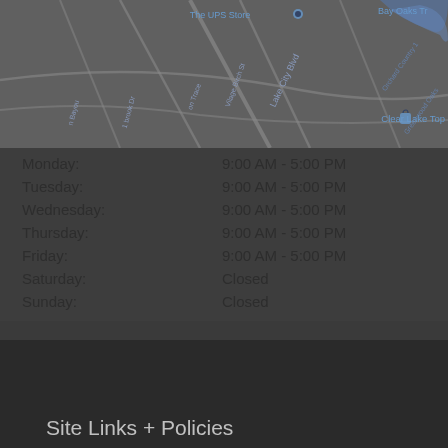[Figure (map): Google Maps screenshot showing area around Lake City Blvd, Clear Lake Top, The UPS Store, Bay Oaks Tr, and surrounding streets in a dark overlay]
Monday: 9:00 AM - 5:00 PM
Tuesday: 9:00 AM - 5:00 PM
Wednesday: 9:00 AM - 5:00 PM
Thursday: 9:00 AM - 5:00 PM
Friday: 9:00 AM - 5:00 PM
Saturday: Closed
Sunday: Closed
Site Links + Policies